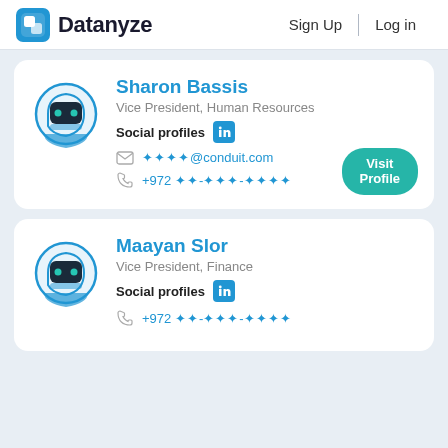Datanyze  Sign Up  Log in
[Figure (screenshot): Person card for Sharon Bassis, Vice President Human Resources, with robot avatar, LinkedIn icon, masked email ****@conduit.com, masked phone +972 **-****-****, and Visit Profile button]
[Figure (screenshot): Person card for Maayan Slor, Vice President Finance, with robot avatar, LinkedIn icon, and masked phone +972 **-****-****]